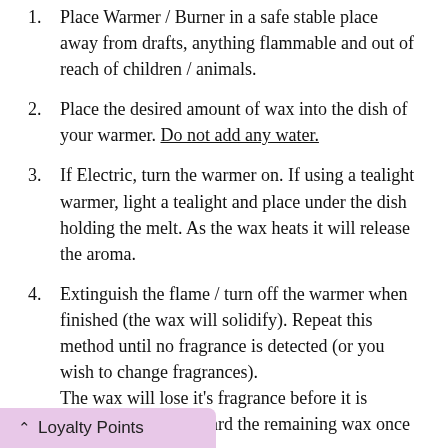1. Place Warmer / Burner in a safe stable place away from drafts, anything flammable and out of reach of children / animals.
2. Place the desired amount of wax into the dish of your warmer. Do not add any water.
3. If Electric, turn the warmer on. If using a tealight warmer, light a tealight and place under the dish holding the melt. As the wax heats it will release the aroma.
4. Extinguish the flame / turn off the warmer when finished (the wax will solidify). Repeat this method until no fragrance is detected (or you wish to change fragrances). The wax will lose it's fragrance before it is visually used. Discard the remaining wax once
^ Loyalty Points